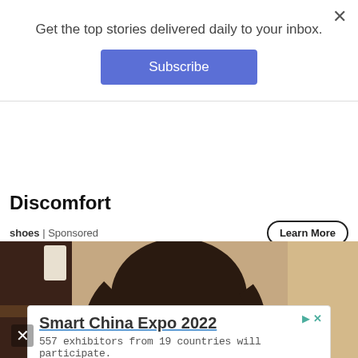Get the top stories delivered daily to your inbox.
Subscribe
Discomfort
shoes | Sponsored
Learn More
[Figure (photo): Woman with long dark hair seen from behind, sitting in a room with dark wood furniture]
Smart China Expo 2022
557 exhibitors from 19 countries will participate.
iChongqing
Open